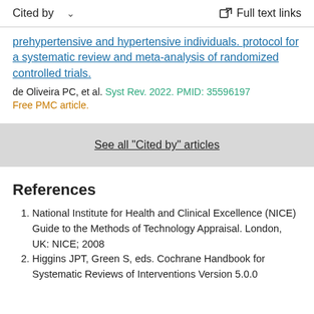Cited by   ∨   Full text links
prehypertensive and hypertensive individuals. protocol for a systematic review and meta-analysis of randomized controlled trials.
de Oliveira PC, et al. Syst Rev. 2022. PMID: 35596197
Free PMC article.
See all "Cited by" articles
References
National Institute for Health and Clinical Excellence (NICE) Guide to the Methods of Technology Appraisal. London, UK: NICE; 2008
Higgins JPT, Green S, eds. Cochrane Handbook for Systematic Reviews of Interventions Version 5.0.0